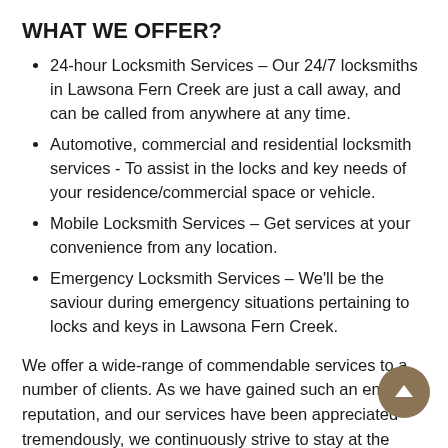WHAT WE OFFER?
24-hour Locksmith Services – Our 24/7 locksmiths in Lawsona Fern Creek are just a call away, and can be called from anywhere at any time.
Automotive, commercial and residential locksmith services - To assist in the locks and key needs of your residence/commercial space or vehicle.
Mobile Locksmith Services – Get services at your convenience from any location.
Emergency Locksmith Services – We'll be the saviour during emergency situations pertaining to locks and keys in Lawsona Fern Creek.
We offer a wide-range of commendable services to a number of clients. As we have gained such an eminent reputation, and our services have been appreciated tremendously, we continuously strive to stay at the topmost position. We use cutting-edge locksmithing tools, sophisticated technology, and are backed up with highly qualified expert locksmiths in Lawsona Fern Creek who